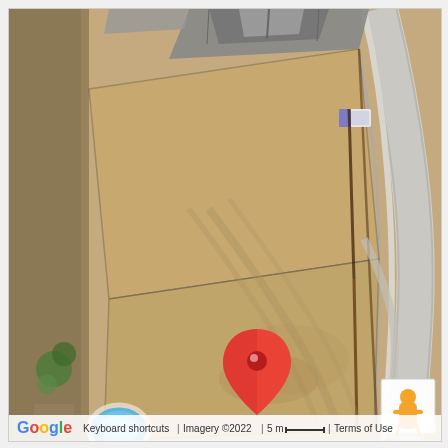[Figure (map): Google Maps aerial/satellite view showing vacant land lots in a residential neighborhood. A red location pin is placed on a sandy/dirt vacant lot. Nearby structures include a house with gray roof in the upper portion, a blue circular pool visible on the left side, and a curved road on the right. Google Maps UI controls visible: Street View pegman icon, zoom in (+) and zoom out (-) buttons. Footer shows Google logo, Keyboard shortcuts, Imagery ©2022, 5m scale bar, and Terms of Use.]